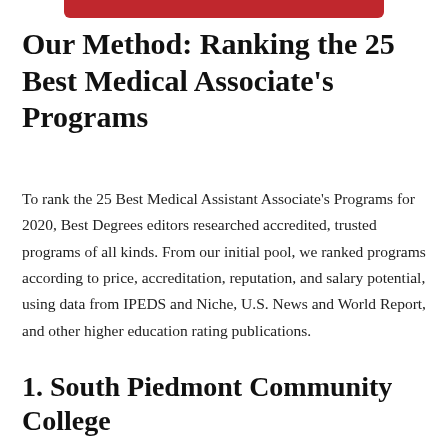[Figure (other): Red rounded rectangle bar at top center of page, decorative header element]
Our Method: Ranking the 25 Best Medical Associate's Programs
To rank the 25 Best Medical Assistant Associate's Programs for 2020, Best Degrees editors researched accredited, trusted programs of all kinds. From our initial pool, we ranked programs according to price, accreditation, reputation, and salary potential, using data from IPEDS and Niche, U.S. News and World Report, and other higher education rating publications.
1. South Piedmont Community College